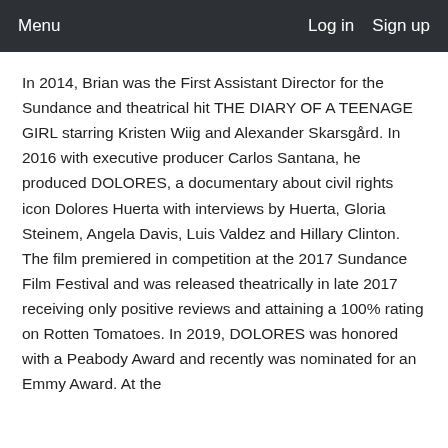Menu  Log in  Sign up
In 2014, Brian was the First Assistant Director for the Sundance and theatrical hit THE DIARY OF A TEENAGE GIRL starring Kristen Wiig and Alexander Skarsgård. In 2016 with executive producer Carlos Santana, he produced DOLORES, a documentary about civil rights icon Dolores Huerta with interviews by Huerta, Gloria Steinem, Angela Davis, Luis Valdez and Hillary Clinton. The film premiered in competition at the 2017 Sundance Film Festival and was released theatrically in late 2017 receiving only positive reviews and attaining a 100% rating on Rotten Tomatoes. In 2019, DOLORES was honored with a Peabody Award and recently was nominated for an Emmy Award. At the